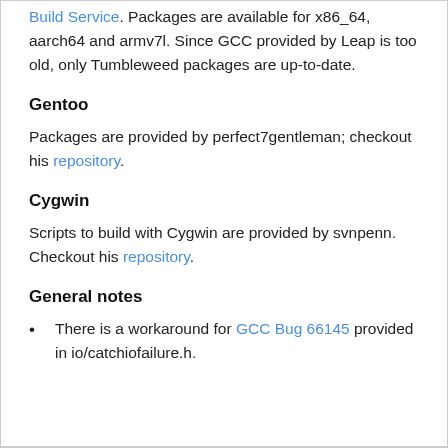Build Service. Packages are available for x86_64, aarch64 and armv7l. Since GCC provided by Leap is too old, only Tumbleweed packages are up-to-date.
Gentoo
Packages are provided by perfect7gentleman; checkout his repository.
Cygwin
Scripts to build with Cygwin are provided by svnpenn. Checkout his repository.
General notes
There is a workaround for GCC Bug 66145 provided in io/catchiofailure.h.